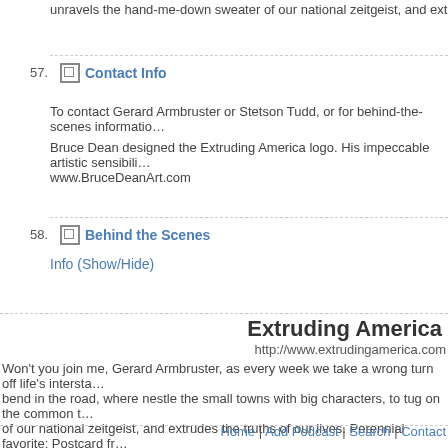unravels the hand-me-down sweater of our national zeitgeist, and extrudes the tru…
57. Contact Info
To contact Gerard Armbruster or Stetson Tudd, or for behind-the-scenes informatio…
Bruce Dean designed the Extruding America logo. His impeccable artistic sensibili… www.BruceDeanArt.com
58. Behind the Scenes
Info (Show/Hide)
Extruding America
http://www.extrudingamerica.com
Won't you join me, Gerard Armbruster, as every week we take a wrong turn off life's intersta… bend in the road, where nestle the small towns with big characters, to tug on the common t… of our national zeitgeist, and extrudes the truths of our lives. Perennial favorite: Postcard fr…
Home | Add Podcast | Search | Contact